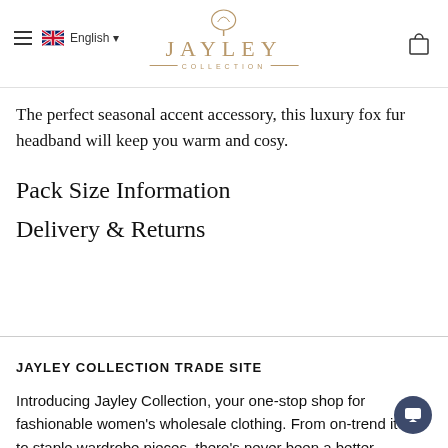Jayley Collection — English navigation header with logo
The perfect seasonal accent accessory, this luxury fox fur headband will keep you warm and cosy.
Pack Size Information
Delivery & Returns
JAYLEY COLLECTION TRADE SITE
Introducing Jayley Collection, your one-stop shop for fashionable women's wholesale clothing. From on-trend items to staple wardrobe pieces, there's never been a better